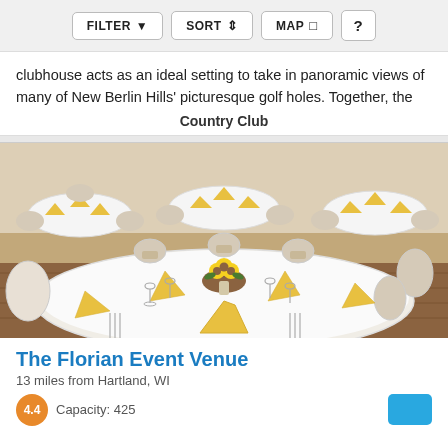FILTER  SORT  MAP  ?
clubhouse acts as an ideal setting to take in panoramic views of many of New Berlin Hills' picturesque golf holes. Together, the
Country Club
[Figure (photo): Wedding reception venue with round tables set with white tablecloths, gold/yellow folded napkins, sunflower centerpieces, and white chair covers with champagne sashes.]
The Florian Event Venue
13 miles from Hartland, WI
Capacity: 425